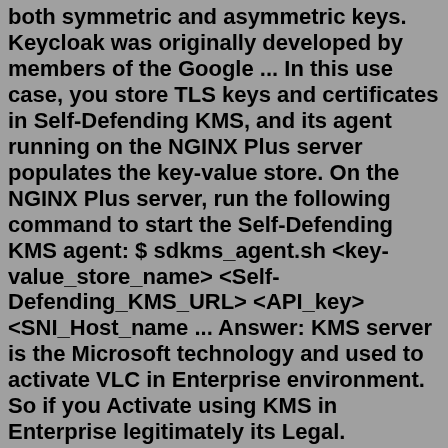both symmetric and asymmetric keys. Keycloak was originally developed by members of the Google ... In this use case, you store TLS keys and certificates in Self-Defending KMS, and its agent running on the NGINX Plus server populates the key-value store. On the NGINX Plus server, run the following command to start the Self-Defending KMS agent: $ sdkms_agent.sh <key-value_store_name> <Self-Defending_KMS_URL> <API_key> <SNI_Host_name ... Answer: KMS server is the Microsoft technology and used to activate VLC in Enterprise environment. So if you Activate using KMS in Enterprise legitimately its Legal. Centrally manage encryption keys. A cloud-hosted key management service that lets you manage symmetric and asymmetric cryptographic keys for your cloud services the same way you do on-premises. You can generate, use, rotate, and destroy AES256, RSA 2048, RSA 3072, RSA 4096, EC P256, and EC P384 cryptographic keys. I'm looking for recommendations for an open source KMS server that has a history of